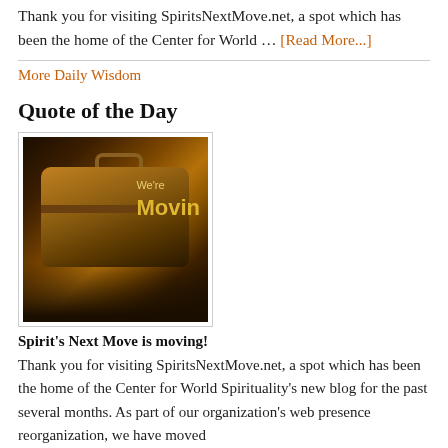Thank you for visiting SpiritsNextMove.net, a spot which has been the home of the Center for World … [Read More...]
More Daily Wisdom
Quote of the Day
[Figure (photo): A vintage suitcase with golden text 'We're Moving' on a dark background]
Spirit's Next Move is moving!
Thank you for visiting SpiritsNextMove.net, a spot which has been the home of the Center for World Spirituality's new blog for the past several months. As part of our organization's web presence reorganization, we have moved the content of this blog and will continue to post there...